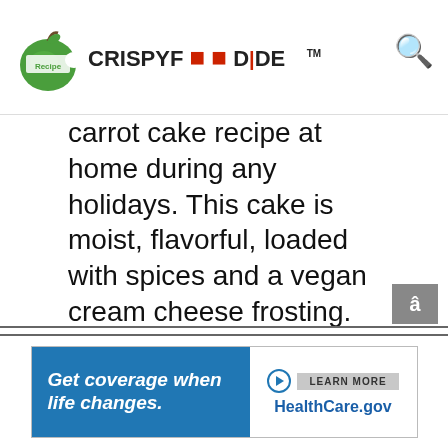CRISPYFOODIDEA TM
carrot cake recipe at home during any holidays. This cake is moist, flavorful, loaded with spices and a vegan cream cheese frosting. This is one of my best vegan cake recipes that my family is going to fall in love with.
Easy to make with few simple kitchen staples and this dessert will be your favorite cake soon when you take a bite. Get the recipe here.
[Figure (screenshot): Advertisement banner: Get coverage when life changes. LEARN MORE. HealthCare.gov]